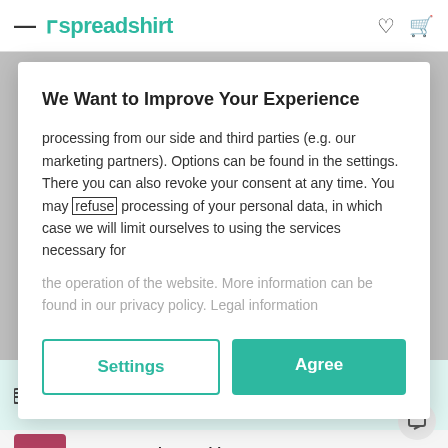Spreadshirt
We Want to Improve Your Experience
processing from our side and third parties (e.g. our marketing partners). Options can be found in the settings. There you can also revoke your consent at any time. You may refuse processing of your personal data, in which case we will limit ourselves to using the services necessary for the operation of the website. More information can be found in our privacy policy. Legal information
Settings
Agree
Want your product ASAP? Calculate here delivery time and shipping costs
Men's Premium T-Shirt
Available for kids & adults